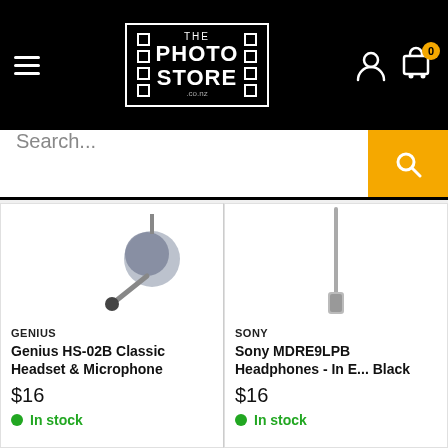[Figure (screenshot): The Photo Store website header with logo, hamburger menu, user and cart icons on black background]
Search...
[Figure (photo): Genius HS-02B Classic Headset & Microphone product image showing headset with microphone arm]
GENIUS
Genius HS-02B Classic Headset & Microphone
$16
In stock
[Figure (photo): Sony MDRE9LPB Headphones product image showing in-ear headphone cable]
SONY
Sony MDRE9LPB Headphones - In E... Black
$16
In stock